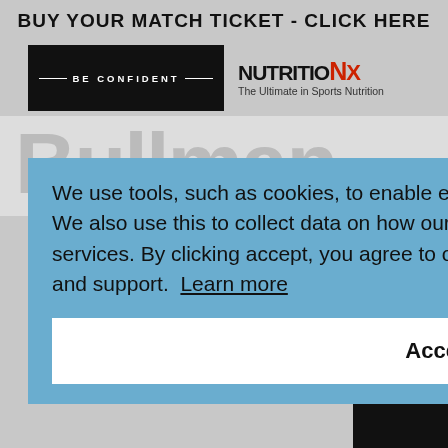BUY YOUR MATCH TICKET - CLICK HERE
[Figure (logo): Black banner with 'BE CONFIDENT' text flanked by white lines]
[Figure (logo): NutritionX logo - The Ultimate in Sports Nutrition]
[Figure (screenshot): Partially visible large bold text 'Bullman' in grey behind overlay]
We use tools, such as cookies, to enable essential services and functionality on our site. We also use this to collect data on how our visitors interact with our site, products and services. By clicking accept, you agree to our use of these tools for advertising, analytics and support. Learn more
Accept